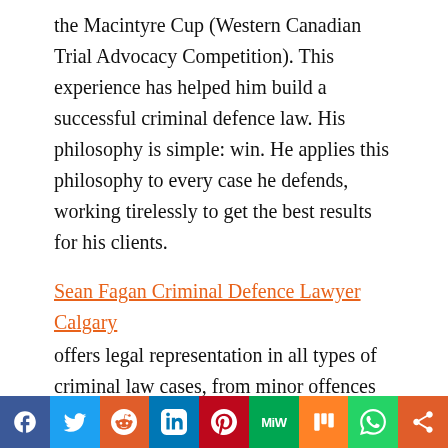the Macintyre Cup (Western Canadian Trial Advocacy Competition). This experience has helped him build a successful criminal defence law. His philosophy is simple: win. He applies this philosophy to every case he defends, working tirelessly to get the best results for his clients.
Sean Fagan Criminal Defence Lawyer Calgary offers legal representation in all types of criminal law cases, from minor offences to serious and complex matters. The firm has a proven track record in defending its defendants against all manner of criminal charges, including assault & violent offences, bail, driving charges, breaches and failures to appear, drug charges and...